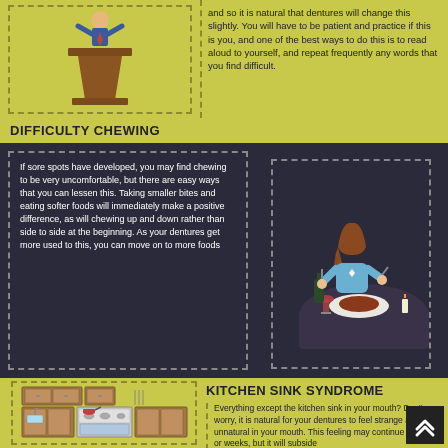[Figure (illustration): Person at a podium/lectern, top portion visible, olive-yellow background with dashed border]
and so it is natural that dentures will change this slightly. You will have to be patient and practice if this is you, and one of the best ways to do this is to read aloud to yourself, and repeat frequently any words that you find difficult.
DIFFICULTY CHEWING
If sore spots have developed, you may find chewing to be very uncomfortable, but there are easy ways that you can lessen this. Taking smaller bites and eating softer foods will immediately make a positive difference, as will chewing up and down rather than side to side at the beginning. As your dentures get more used to this, you can move on to more foods
[Figure (illustration): Woman sitting at a dining table eating steak with wine bottle and candle, dark background with dashed border]
KITCHEN SINK SYNDROME
[Figure (illustration): Kitchen illustration with cabinets, stove, and kitchen items, olive-yellow background]
Everything except the kitchen sink in your mouth? Don't worry, it is natural for your dentures to feel strange and unnatural in your mouth. This feeling may continue for days or weeks, but it will subside